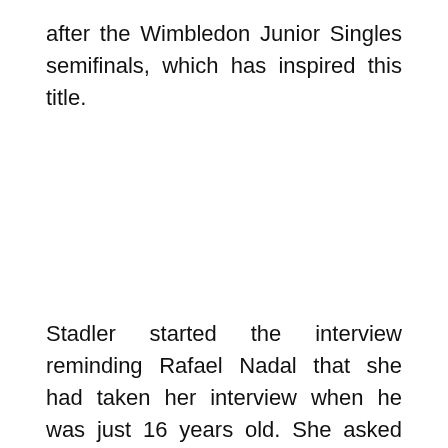after the Wimbledon Junior Singles semifinals, which has inspired this title.
Stadler started the interview reminding Rafael Nadal that she had taken her interview when he was just 16 years old. She asked Nadal if he ever